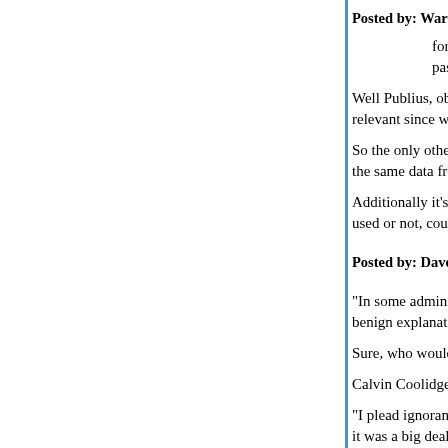Posted by: Warren Terra | March 20, 2008 at 11:14 PM
for me, a lot depends on what types of info are in a passport file. Does anyone know?
Well Publius, obviously first of all just about any id info is irrelevant since we know who Obama is.
So the only other data would be exit and entry info - essentially the same data from every country he's ever visited.
Additionally it's likely that information on any Visa applied for, used or not, could be included.
Posted by: Davebo | March 20, 2008 at 11:40 PM
"In some administrations (Gerald Ford's, maybe), there's a benign explanation."
Sure, who wouldn't trust Alexander Haig, Don Ru...
Calvin Coolidge would work, though.
"I plead ignorance on the impact of Bill Clinton's n... it was a big deal, I'll change mind"